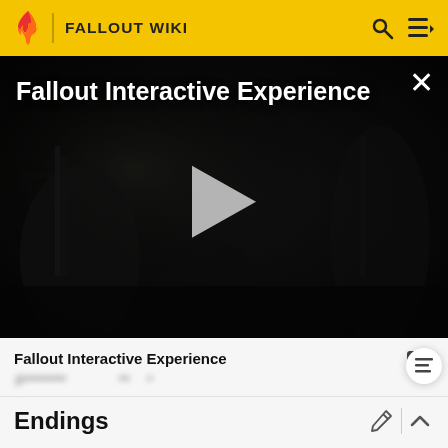FALLOUT WIKI
[Figure (screenshot): Dark post-apocalyptic video still with play button overlay, titled 'Fallout Interactive Experience']
Fallout Interactive Experience
[blurred/redacted text line]
Endings